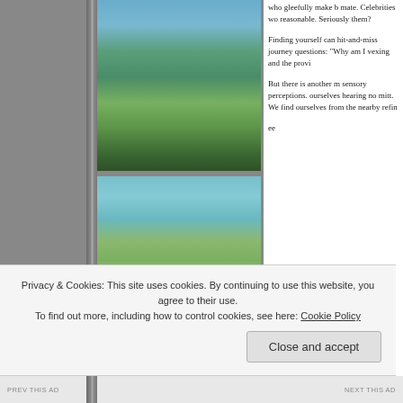[Figure (photo): Aerial or elevated view of a river or lake through evergreen trees, with blue-green water and forest.]
[Figure (photo): Close-up of a rocky lake or river shoreline with blue water and purple wildflowers and green vegetation.]
[Figure (photo): Looking up at tall evergreen trees against a pale sky, forest scene.]
who gleefully make b mate. Celebrities wo reasonable. Seriously them?
Finding yourself can hit-and-miss journey questions: “Why am I vexing and the provi
But there is another m sensory perceptions. ourselves hearing no mitt. We find ourselves from the nearby refin
ee
Privacy & Cookies: This site uses cookies. By continuing to use this website, you agree to their use.
To find out more, including how to control cookies, see here: Cookie Policy
Close and accept